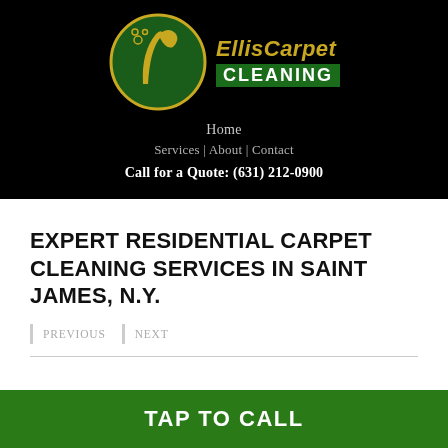[Figure (logo): Ellis Carpet Cleaning logo: circular green and gold emblem with a stylized letter L / carpet cleaner wand icon, bubbles, next to text 'EllisCarpet' in gold and 'CLEANING' in white on dark green background]
Home
Services | About | Contact
Call for a Quote: (631) 212-0900
EXPERT RESIDENTIAL CARPET CLEANING SERVICES IN SAINT JAMES, N.Y.
PREVIOUS   NEXT
TAP TO CALL